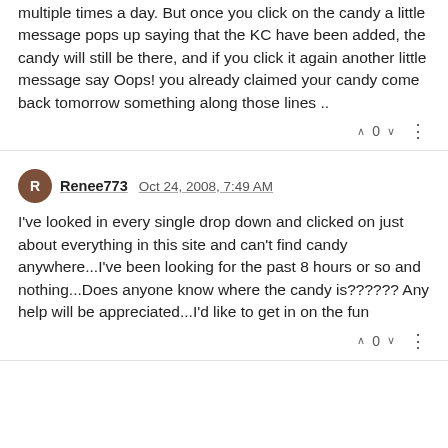multiple times a day. But once you click on the candy a little message pops up saying that the KC have been added, the candy will still be there, and if you click it again another little message say Oops! you already claimed your candy come back tomorrow something along those lines ..
Renee773 Oct 24, 2008, 7:49 AM
I've looked in every single drop down and clicked on just about everything in this site and can't find candy anywhere...I've been looking for the past 8 hours or so and nothing...Does anyone know where the candy is?????? Any help will be appreciated...I'd like to get in on the fun